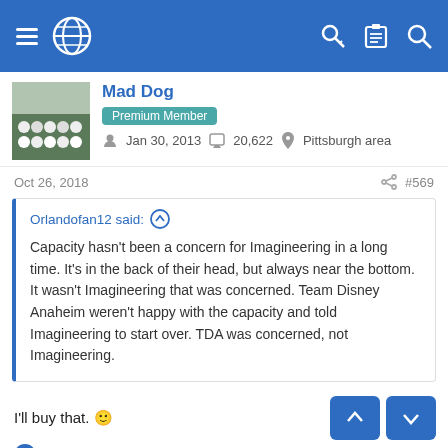Navigation bar with menu, globe icon, key, clipboard, and search icons
Mad Dog
Premium Member
Jan 30, 2013  20,622  Pittsburgh area
Oct 26, 2018  #569
Orlandofan12 said: ↑

Capacity hasn't been a concern for Imagineering in a long time. It's in the back of their head, but always near the bottom. It wasn't Imagineering that was concerned. Team Disney Anaheim weren't happy with the capacity and told Imagineering to start over. TDA was concerned, not Imagineering.
I'll buy that. 😊
Yabbadabba Doh
Scott W